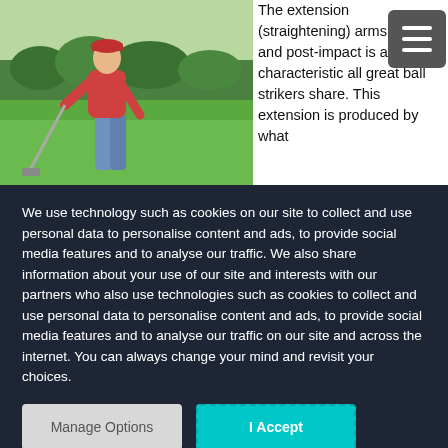[Figure (photo): A golfer in a red shirt and blue pants swinging a golf club on a green golf course with trees in the background.]
The extension (straightening) arms, club, and post-impact is a key characteristic all great ball strikers share. This extension is produced by what
We use technology such as cookies on our site to collect and use personal data to personalise content and ads, to provide social media features and to analyse our traffic. We also share information about your use of our site and interests with our partners who also use technologies such as cookies to collect and use personal data to personalise content and ads, to provide social media features and to analyse our traffic on our site and across the internet. You can always change your mind and revisit your choices.